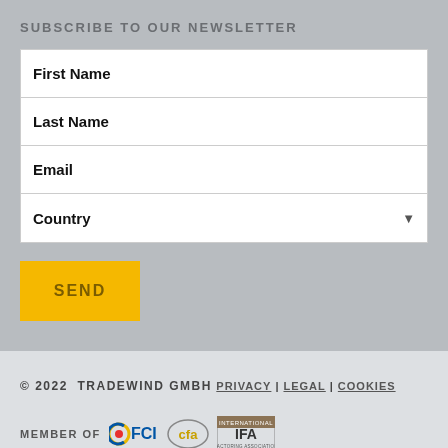SUBSCRIBE TO OUR NEWSLETTER
First Name
Last Name
Email
Country
SEND
© 2022 TRADEWIND GMBH
PRIVACY | LEGAL | COOKIES
MEMBER OF [FCI] [cfa] [IFA International Factoring Association]
FOLLOW US ON [LinkedIn]